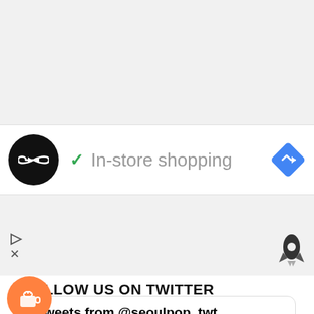[Figure (screenshot): Top gray area, empty space above in-store shopping card]
In-store shopping
[Figure (screenshot): Middle gray section with ad play triangle and X icons]
FOLLOW US ON TWITTER
Tweets from @seoulpop_twt
SeoulPop @seoulpop_twt · Aug 14